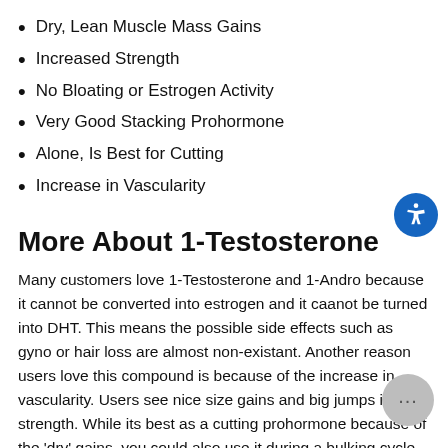Dry, Lean Muscle Mass Gains
Increased Strength
No Bloating or Estrogen Activity
Very Good Stacking Prohormone
Alone, Is Best for Cutting
Increase in Vascularity
More About 1-Testosterone
Many customers love 1-Testosterone and 1-Andro because it cannot be converted into estrogen and it caanot be turned into DHT. This means the possible side effects such as gyno or hair loss are almost non-existant. Another reason users love this compound is because of the increase in vascularity. Users see nice size gains and big jumps in strength. While its best as a cutting prohormone because of the 'dry' gains, you could also use it during a bulking cycle because strength gains you get from it!